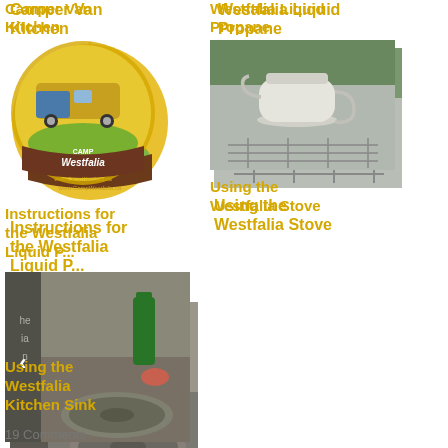Camper Van Kitchen
[Figure (logo): Camp Westfalia logo - circular yellow logo with a camper van and brown ribbon with 'Camp Westfalia' text and www.CampWestfalia.com]
Instructions for the Westfalia Liquid P...
[Figure (photo): Photo of Westfalia kitchen sink - a round stainless steel sink with cleaning products in the background, arrow navigation control visible]
Using the Westfalia Kitchen Sink
19 Comments
Westfalia Liquid Propane
[Figure (photo): Photo of a white kettle on a Westfalia propane stove, stainless steel background]
Using the Westfalia Stove